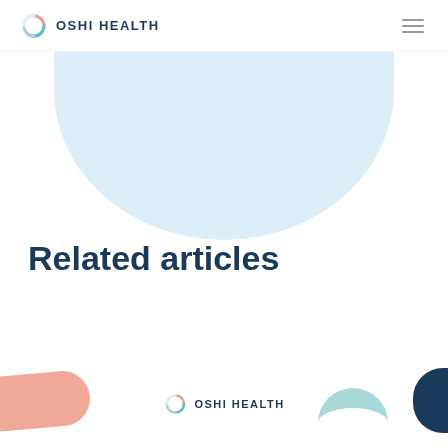OSHI HEALTH
[Figure (illustration): Large light blue semicircle decorative element at top of page]
Related articles
[Figure (illustration): Peach/salmon colored rounded shape at bottom left corner]
[Figure (logo): Oshi Health logo with circular icon and text OSHI HEALTH at bottom center]
[Figure (illustration): Dark navy rounded rectangle at bottom right edge]
[Figure (illustration): Teal arc shape at bottom right]